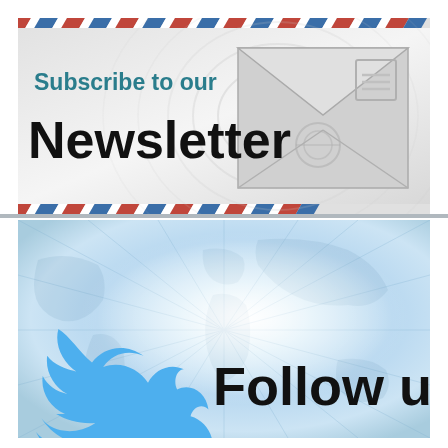[Figure (illustration): Newsletter subscription banner with airmail striped border (red/blue/white diagonal stripes), an envelope graphic on the right, and text 'Subscribe to our Newsletter' on a light gray background]
[Figure (illustration): Twitter follow banner with a blurred radial world map background in blue/white tones, a blue Twitter bird logo on the left, and bold black text 'Follow us']